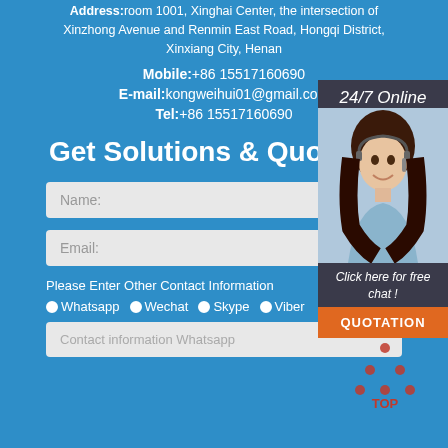Address: room 1001, Xinghai Center, the intersection of Xinzhong Avenue and Renmin East Road, Hongqi District, Xinxiang City, Henan
Mobile: +86 15517160690
E-mail: kongweihui01@gmail.com
Tel: +86 15517160690
Get Solutions & Quotation
Name:
Email:
Please Enter Other Contact Information
Whatsapp  Wechat  Skype  Viber
Contact information Whatsapp
24/7 Online
[Figure (photo): Woman with headset smiling, customer service representative]
Click here for free chat !
QUOTATION
[Figure (logo): TOP logo with red triangle dots and text]